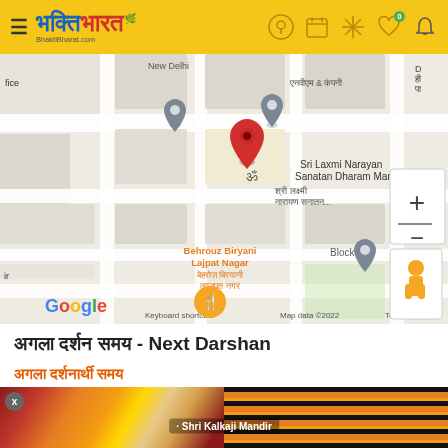भक्ति भारत (BhaktiBharat.com)
[Figure (map): Google Maps screenshot showing Sri Laxmi Narayan Sanatan Dharam Mandir location in Lajpat Nagar, New Delhi, with nearby landmarks including Behrouz Biryani and Block L pin. Map data ©2022.]
अगला दर्शन समय - Next Darshan
अगला दर्शन समय
[Figure (photo): Photo strip showing decorated deity statues at Shri Kalkaji Mandir with marigold flower garlands. Caption reads: Shri Kalkaji Mandir]